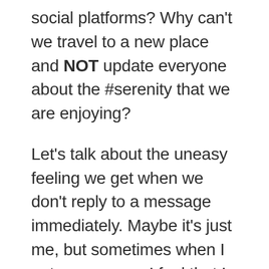social platforms? Why can't we travel to a new place and NOT update everyone about the #serenity that we are enjoying?
Let's talk about the uneasy feeling we get when we don't reply to a message immediately. Maybe it's just me, but sometimes when I get a message, I feel that I MUST reply immediately, or that if I leave it too long, the person sending me the message will think I don't care about them, or that I'm ignoring them. The fact that I feel this way makes it incredibly hard to switch off both my mind and my many